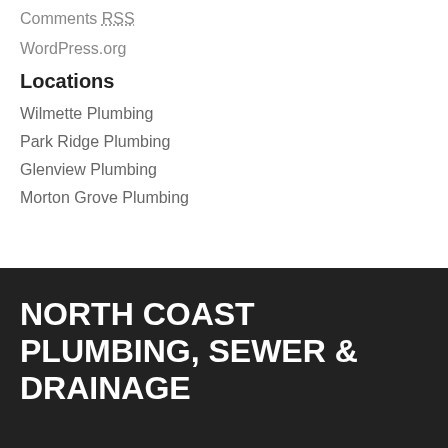Comments RSS
WordPress.org
Locations
Wilmette Plumbing
Park Ridge Plumbing
Glenview Plumbing
Morton Grove Plumbing
NORTH COAST PLUMBING, SEWER & DRAINAGE